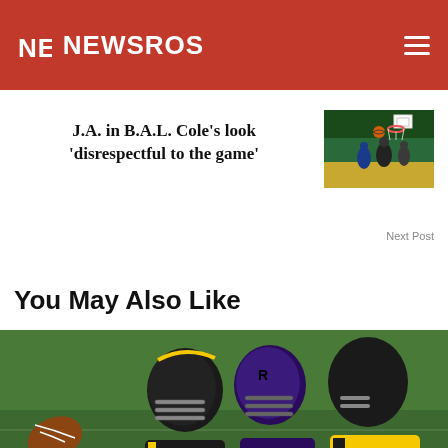NEWSROS
J.A. in B.A.L. Cole’s look ‘disrespectful to the game’
Next Post
[Figure (photo): Basketball game action photo with players near the hoop]
You May Also Like
[Figure (photo): NFL football players in helmets facing off on a green field, Steelers vs Ravens]